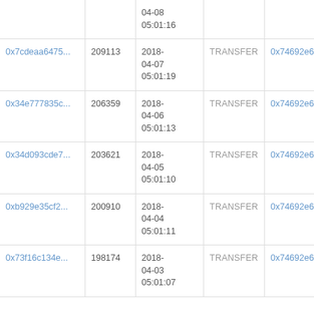| Hash | Block | Date | Type | Address |
| --- | --- | --- | --- | --- |
|  |  | 04-08 05:01:16 |  |  |
| 0x7cdeaa6475... | 209113 | 2018-04-07 05:01:19 | TRANSFER | 0x74692e66fc... |
| 0x34e777835c... | 206359 | 2018-04-06 05:01:13 | TRANSFER | 0x74692e66fc... |
| 0x34d093cde7... | 203621 | 2018-04-05 05:01:10 | TRANSFER | 0x74692e66fc... |
| 0xb929e35cf2... | 200910 | 2018-04-04 05:01:11 | TRANSFER | 0x74692e66fc... |
| 0x73f16c134e... | 198174 | 2018-04-03 05:01:07 | TRANSFER | 0x74692e66fc... |